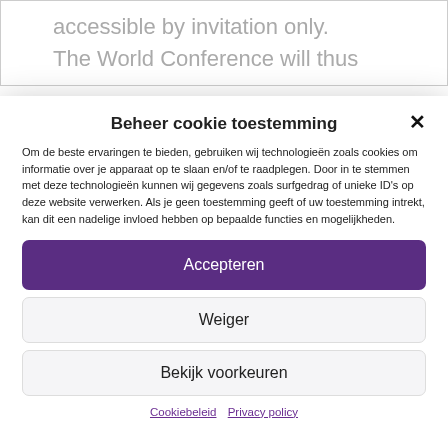accessible by invitation only. The World Conference will thus
Beheer cookie toestemming
Om de beste ervaringen te bieden, gebruiken wij technologieën zoals cookies om informatie over je apparaat op te slaan en/of te raadplegen. Door in te stemmen met deze technologieën kunnen wij gegevens zoals surfgedrag of unieke ID's op deze website verwerken. Als je geen toestemming geeft of uw toestemming intrekt, kan dit een nadelige invloed hebben op bepaalde functies en mogelijkheden.
Accepteren
Weiger
Bekijk voorkeuren
Cookiebeleid  Privacy policy